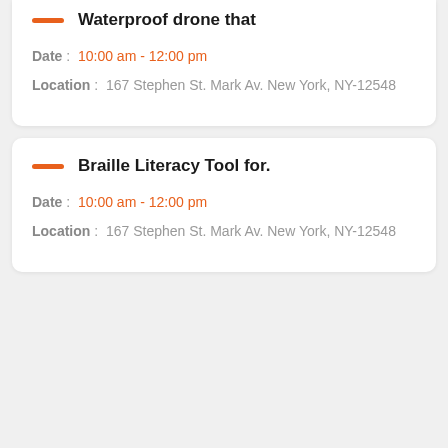Waterproof drone that
Date: 10:00 am - 12:00 pm
Location: 167 Stephen St. Mark Av. New York, NY-12548
Braille Literacy Tool for.
Date: 10:00 am - 12:00 pm
Location: 167 Stephen St. Mark Av. New York, NY-12548